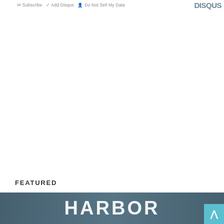Subscribe  Add Disqus  Do Not Sell My Data  DISQUS
FEATURED
[Figure (photo): Harbor branding image with large white HARBOR text on a dark blue-grey background]